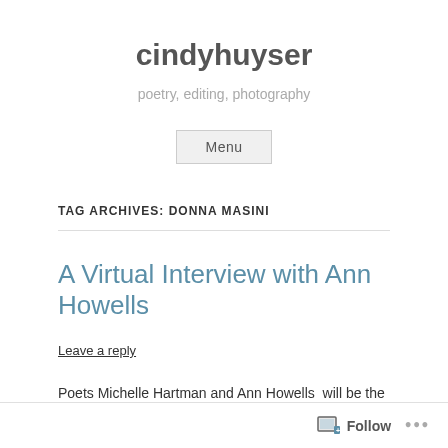cindyhuyser
poetry, editing, photography
Menu
TAG ARCHIVES: DONNA MASINI
A Virtual Interview with Ann Howells
Leave a reply
Poets Michelle Hartman and Ann Howells  will be the featured
Follow  •••